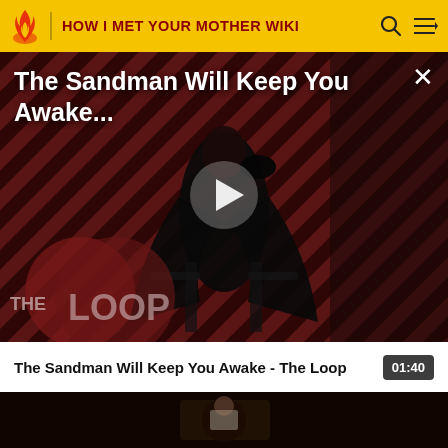HOW I MET YOUR MOTHER WIKI
[Figure (screenshot): Video banner showing 'The Sandman Will Keep You Awake...' with a stylized character in dark costume against a red diagonal striped background and THE LOOP logo. A white play button triangle is centered on the image. A close (X) button is in the top right.]
The Sandman Will Keep You Awake - The Loop
01:40
[Figure (screenshot): Dark video thumbnail showing a person in white against a very dark background.]